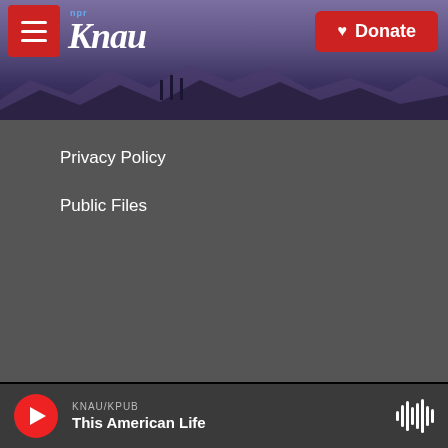[Figure (screenshot): KNAU NPR radio station website header with mountain background, hamburger menu, KNAU logo, and red Donate button]
Privacy Policy
Public Files
[Figure (logo): NAU Northern Arizona University logo - white text on black]
[Figure (logo): NPR logo in box]
[Figure (logo): PRI logo with globe]
[Figure (logo): cpb logo]
[Figure (logo): American Public Media logo]
[Figure (logo): PRX logo]
[Figure (logo): BBC logo]
KNAU/KPUB
This American Life